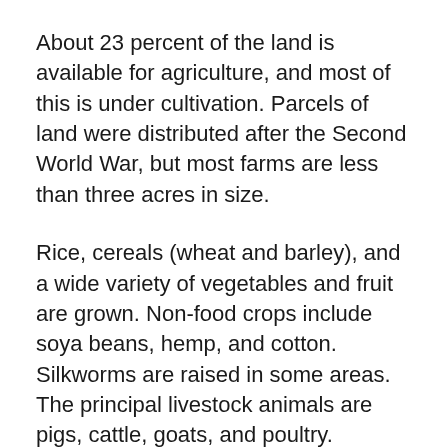About 23 percent of the land is available for agriculture, and most of this is under cultivation. Parcels of land were distributed after the Second World War, but most farms are less than three acres in size.
Rice, cereals (wheat and barley), and a wide variety of vegetables and fruit are grown. Non-food crops include soya beans, hemp, and cotton. Silkworms are raised in some areas. The principal livestock animals are pigs, cattle, goats, and poultry.
Forestry extraction and related activities are negligible in South Korea, but the country has one of the world’s largest deep-sea